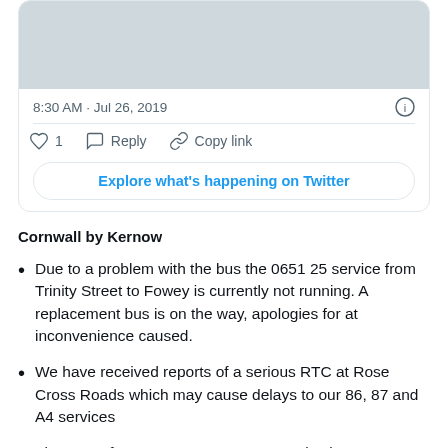[Figure (screenshot): Tweet card showing timestamp 8:30 AM · Jul 26, 2019, action buttons (heart with 1 like, Reply, Copy link), and an Explore what's happening on Twitter button]
Cornwall by Kernow
Due to a problem with the bus the 0651 25 service from Trinity Street to Fowey is currently not running. A replacement bus is on the way, apologies for at inconvenience caused.
We have received reports of a serious RTC at Rose Cross Roads which may cause delays to our 86, 87 and A4 services
The 08.42 from St Ives to Truro T2 service is not